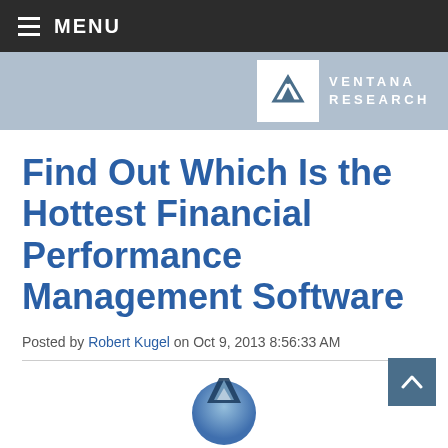MENU
[Figure (logo): Ventana Research logo — white V icon in white box with VENTANA RESEARCH text in white on blue-grey bar]
Find Out Which Is the Hottest Financial Performance Management Software
Posted by Robert Kugel on Oct 9, 2013 8:56:33 AM
[Figure (logo): Ventana Research icon/logo partially visible at bottom of page]